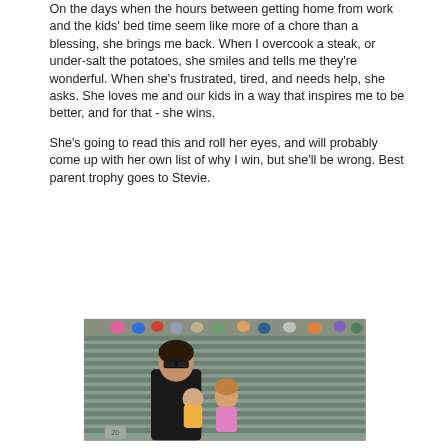On the days when the hours between getting home from work and the kids' bed time seem like more of a chore than a blessing, she brings me back. When I overcook a steak, or under-salt the potatoes, she smiles and tells me they're wonderful. When she's frustrated, tired, and needs help, she asks. She loves me and our kids in a way that inspires me to be better, and for that - she wins.
She's going to read this and roll her eyes, and will probably come up with her own list of why I win, but she'll be wrong. Best parent trophy goes to Stevie.
[Figure (photo): A woman wearing sunglasses and a black top sits in stadium bleachers holding a baby, with a young girl beside her. The stadium seats are gray/green and there are crowd spectators visible in the background.]